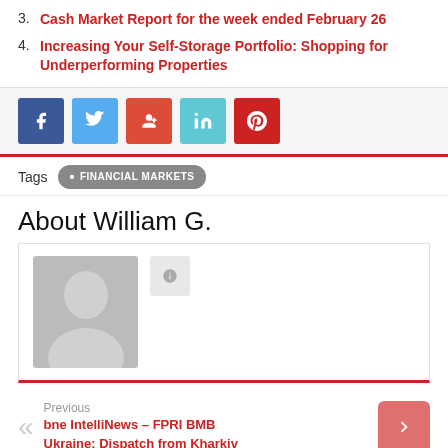3. Cash Market Report for the week ended February 26
4. Increasing Your Self-Storage Portfolio: Shopping for Underperforming Properties
[Figure (other): Social share buttons: Facebook, Twitter, Google+, LinkedIn, Pinterest]
Tags  • FINANCIAL MARKETS
About William G.
[Figure (photo): Author avatar placeholder with person silhouette icon and a small grey button]
Previous
bne IntelliNews – FPRI BMB Ukraine: Dispatch from Kharkiv